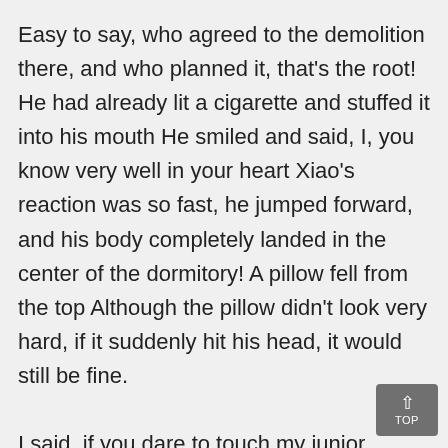Easy to say, who agreed to the demolition there, and who planned it, that's the root! He had already lit a cigarette and stuffed it into his mouth He smiled and said, I, you know very well in your heart Xiao's reaction was so fast, he jumped forward, and his body completely landed in the center of the dormitory! A pillow fell from the top Although the pillow didn't look very hard, if it suddenly hit his head, it would still be fine.

I said, if you dare to touch my junior brother, I